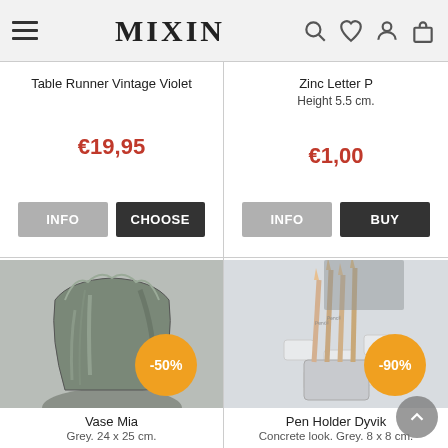MIXIN
Table Runner Vintage Violet
€19,95
Zinc Letter P
Height 5.5 cm.
€1,00
[Figure (photo): Grey glass vase with irregular wavy top edge, with -50% orange discount badge]
Vase Mia
Grey. 24 x 25 cm.
[Figure (photo): Concrete-look pen holder with pencils, with -90% orange discount badge]
Pen Holder Dyvik
Concrete look. Grey. 8 x 8 cm.